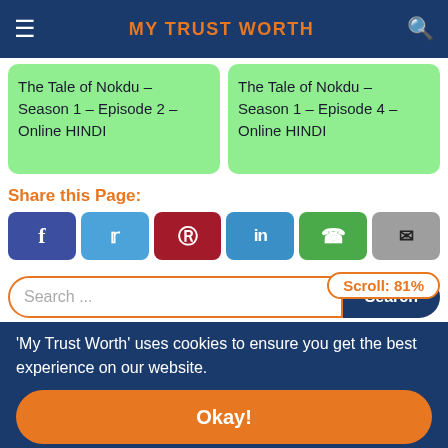MY TRUST WORTH
The Tale of Nokdu – Season 1 – Episode 2 – Online HINDI
The Tale of Nokdu – Season 1 – Episode 4 – Online HINDI
Share this Page:
[Figure (infographic): Social share buttons: Facebook, Twitter, Pinterest, LinkedIn, WhatsApp, Email]
Search ...
Search
Scroll: 81%
'My Trust Worth' uses cookies to ensure you get the best experience on our website.
Okay!